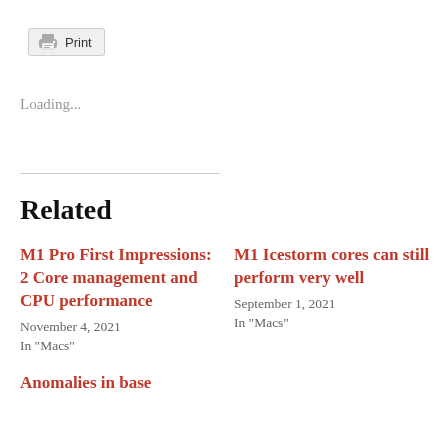[Figure (other): Print button with printer icon]
Loading...
Related
M1 Pro First Impressions: 2 Core management and CPU performance
November 4, 2021
In "Macs"
M1 Icestorm cores can still perform very well
September 1, 2021
In "Macs"
Anomalies in base